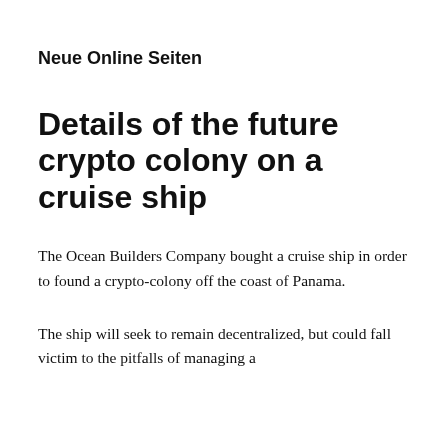Neue Online Seiten
Details of the future crypto colony on a cruise ship
The Ocean Builders Company bought a cruise ship in order to found a crypto-colony off the coast of Panama.
The ship will seek to remain decentralized, but could fall victim to the pitfalls of managing a